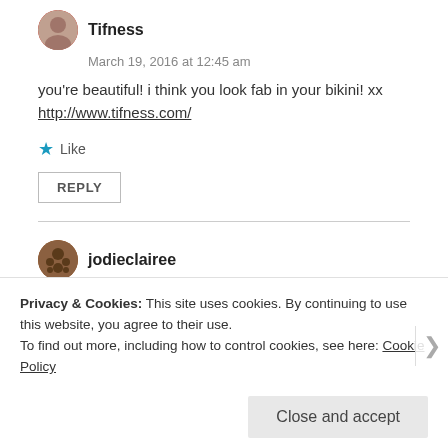Tifness
March 19, 2016 at 12:45 am
you're beautiful! i think you look fab in your bikini! xx
http://www.tifness.com/
★ Like
REPLY
jodieclairee
March 19, 2016 at 6:13 pm
Privacy & Cookies: This site uses cookies. By continuing to use this website, you agree to their use.
To find out more, including how to control cookies, see here: Cookie Policy
Close and accept